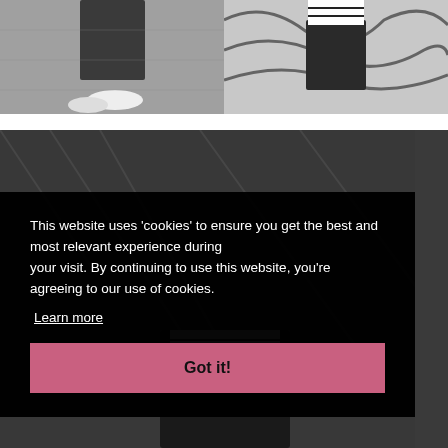[Figure (photo): Left fashion photo: woman in dark leather skirt and white sneakers against a textured wall]
[Figure (photo): Right fashion photo: woman in striped top and dark leather skirt against a black and white mural wall]
[Figure (photo): Background fashion photo: woman in black and white outfit against a dark textured wall]
This website uses 'cookies' to ensure you get the best and most relevant experience during your visit. By continuing to use this website, you're agreeing to our use of cookies.
Learn more
Got it!